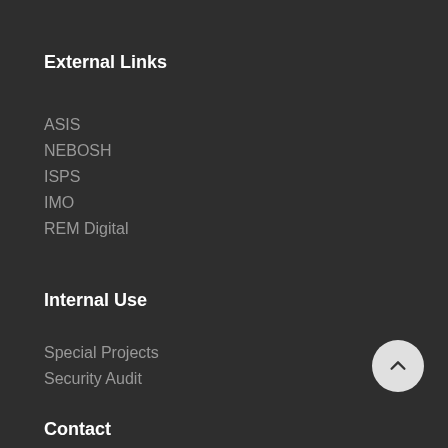External Links
ASIS
NEBOSH
ISPS
IMO
REM Digital
Internal Use
Special Projects
Security Audit
Contact